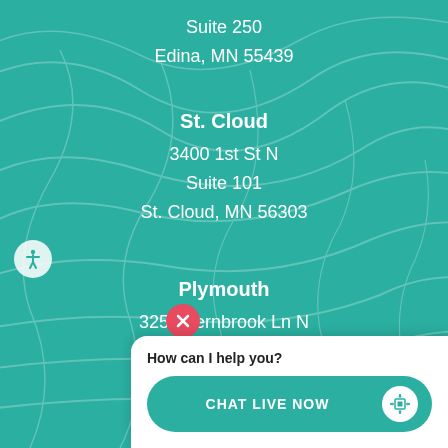[Figure (screenshot): Teal topographic map background with white text showing office locations]
Suite 250
Edina, MN 55439
St. Cloud
3400 1st St N
Suite 101
St. Cloud, MN 56303
Plymouth
3254 Fernbrook Ln N
Plymouth...
How can I help you?
CHAT LIVE NOW